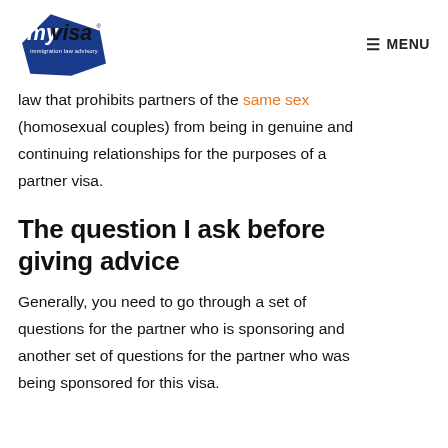myvisa immigration law advisory | MENU
law that prohibits partners of the same sex (homosexual couples) from being in genuine and continuing relationships for the purposes of a partner visa.
The question I ask before giving advice
Generally, you need to go through a set of questions for the partner who is sponsoring and another set of questions for the partner who was being sponsored for this visa.